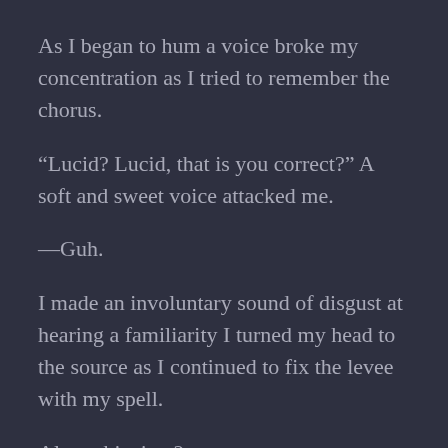As I began to hum a voice broke my concentration as I tried to remember the chorus.
“Lucid? Lucid, that is you correct?” A soft and sweet voice attacked me.
—Guh.
I made an involuntary sound of disgust at hearing a familiarity I turned my head to the source as I continued to fix the levee with my spell.
Alone this time?
She casually strolled towards me with her